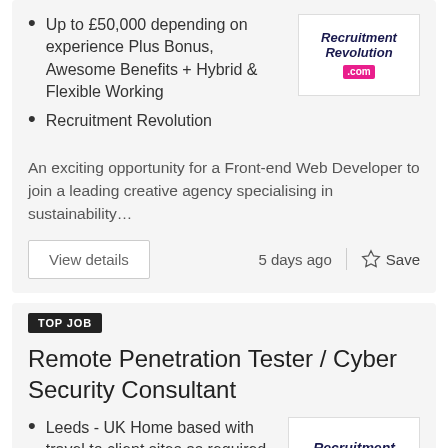Up to £50,000 depending on experience Plus Bonus, Awesome Benefits + Hybrid & Flexible Working
Recruitment Revolution
An exciting opportunity for a Front-end Web Developer to join a leading creative agency specialising in sustainability…
View details   5 days ago   Save
TOP JOB
Remote Penetration Tester / Cyber Security Consultant
Leeds - UK Home based with travel to client sites as required
up to £95,000 + Benefits
Recruitment Revolution